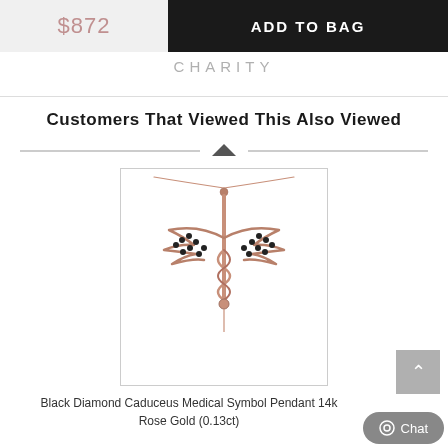$872
ADD TO BAG
CHARITY
Customers That Viewed This Also Viewed
[Figure (photo): Black Diamond Caduceus Medical Symbol Pendant necklace in 14k Rose Gold on a white background]
Black Diamond Caduceus Medical Symbol Pendant 14k Rose Gold (0.13ct)